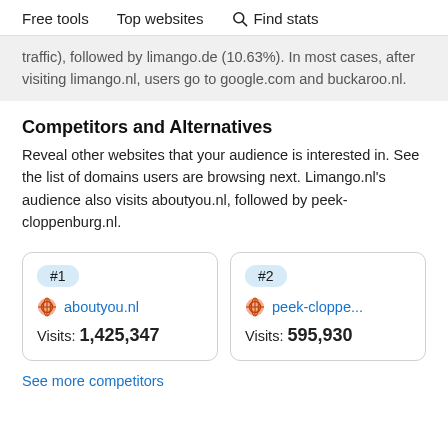Free tools   Top websites   Find stats
traffic), followed by limango.de (10.63%). In most cases, after visiting limango.nl, users go to google.com and buckaroo.nl.
Competitors and Alternatives
Reveal other websites that your audience is interested in. See the list of domains users are browsing next. Limango.nl's audience also visits aboutyou.nl, followed by peek-cloppenburg.nl.
#1
aboutyou.nl
Visits: 1,425,347
#2
peek-cloppe...
Visits: 595,930
See more competitors